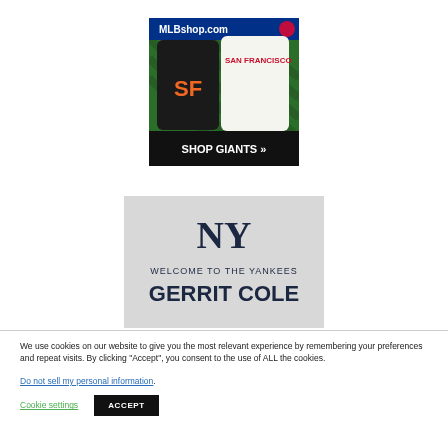[Figure (photo): MLBshop.com advertisement showing San Francisco Giants merchandise — a black jersey with orange SF logo and a white San Francisco jersey. Bottom banner reads 'SHOP GIANTS »' in white text on dark background. MLB logo in top right.]
[Figure (photo): New York Yankees advertisement with light gray background. Features interlocking NY Yankees logo at top in navy blue. Text reads 'WELCOME TO THE YANKEES' above 'GERRIT COLE' in large bold navy text.]
We use cookies on our website to give you the most relevant experience by remembering your preferences and repeat visits. By clicking "Accept", you consent to the use of ALL the cookies.
Do not sell my personal information.
Cookie settings
ACCEPT